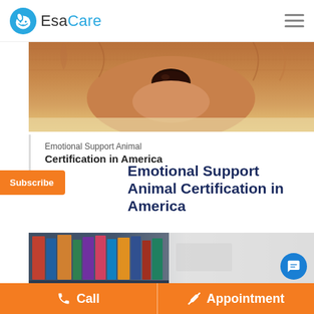EsaCare
[Figure (photo): Close-up photo of a fluffy brown/golden dog's face resting on a surface, shot from above showing just the nose and fur]
Emotional Support Animal Certification in America
Subscribe
Emotional Support Animal Certification in America
[Figure (photo): Photo of bookshelves with books and magazines in a library or office setting]
Call  Appointment